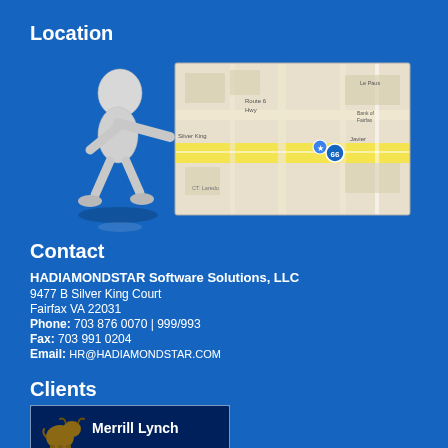Location
[Figure (illustration): 3D white figure person pointing at a Google Maps screenshot showing 9477 B Silver King Court, Fairfax VA area]
Contact
HADIAMONDSTAR Software Solutions, LLC
9477 B Silver King Court
Fairfax VA 22031
Phone: 703 876 0070 | 999/993
Fax: 703 991 0204
Email: HR@HADIAMONDSTAR.COM
Clients
[Figure (logo): Merrill Lynch logo — dark navy box with Merrill Lynch bull logo and text 'Merrill Lynch']